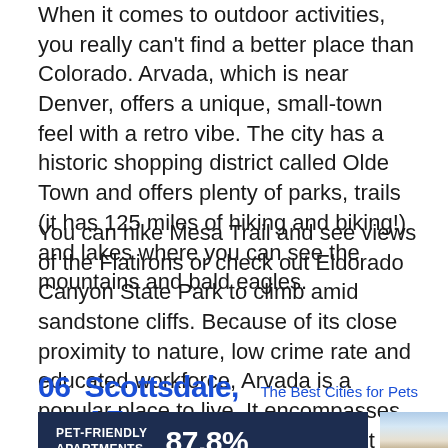When it comes to outdoor activities, you really can't find a better place than Colorado. Arvada, which is near Denver, offers a unique, small-town feel with a retro vibe. The city has a historic shopping district called Olde Town and offers plenty of parks, trails (it has 125 miles of hiking and biking!) and lakes where you can see the mountains and bald eagles.
You can hike Mesa Trail and see views of the Flatirons or check out Eldorado Canyon State Park to climb amid sandstone cliffs. Because of its close proximity to nature, low crime rate and educated workforce, Arvada is a popular place to live. It encompasses the top 20 of Colorado's wealthiest ZIP Codes.
06   Scottsdale, AZ   The Best Cities for Pets
| PET-FRIENDLY APARTMENTS | 87.8% |
| --- | --- |